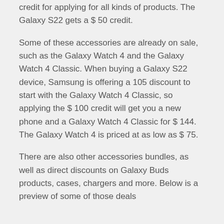credit for applying for all kinds of products. The Galaxy S22 gets a $ 50 credit.
Some of these accessories are already on sale, such as the Galaxy Watch 4 and the Galaxy Watch 4 Classic. When buying a Galaxy S22 device, Samsung is offering a 105 discount to start with the Galaxy Watch 4 Classic, so applying the $ 100 credit will get you a new phone and a Galaxy Watch 4 Classic for $ 144. The Galaxy Watch 4 is priced at as low as $ 75.
There are also other accessories bundles, as well as direct discounts on Galaxy Buds products, cases, chargers and more. Below is a preview of some of those deals